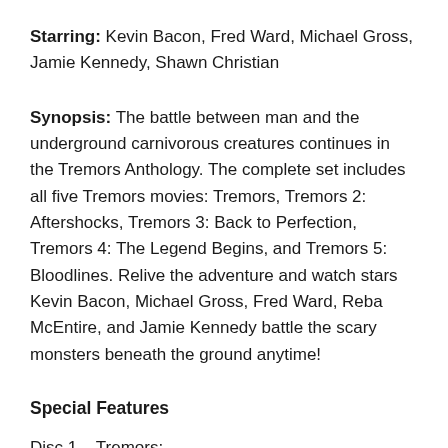Starring: Kevin Bacon, Fred Ward, Michael Gross, Jamie Kennedy, Shawn Christian
Synopsis: The battle between man and the underground carnivorous creatures continues in the Tremors Anthology. The complete set includes all five Tremors movies: Tremors, Tremors 2: Aftershocks, Tremors 3: Back to Perfection, Tremors 4: The Legend Begins, and Tremors 5: Bloodlines. Relive the adventure and watch stars Kevin Bacon, Michael Gross, Fred Ward, Reba McEntire, and Jamie Kennedy battle the scary monsters beneath the ground anytime!
Special Features
Disc 1 – Tremors: